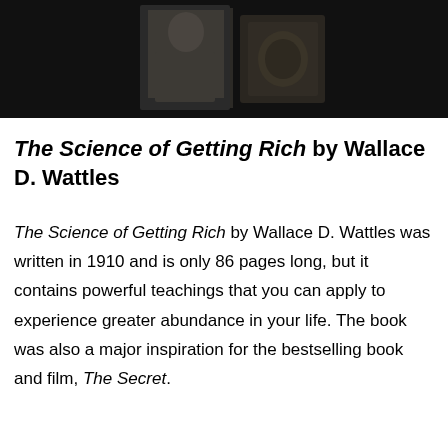[Figure (photo): Black and white photograph showing a person (likely Wallace D. Wattles) along with what appears to be a book or medal, against a dark background.]
The Science of Getting Rich by Wallace D. Wattles
The Science of Getting Rich by Wallace D. Wattles was written in 1910 and is only 86 pages long, but it contains powerful teachings that you can apply to experience greater abundance in your life. The book was also a major inspiration for the bestselling book and film, The Secret.